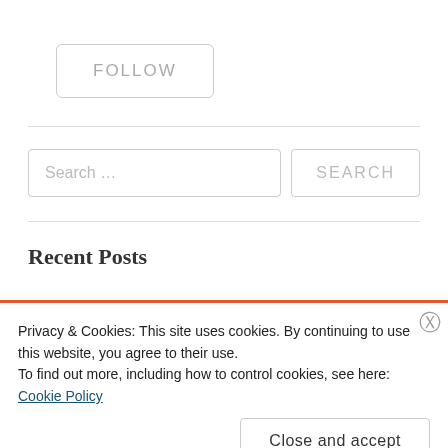[Figure (screenshot): FOLLOW button with rounded border]
[Figure (screenshot): Search input field with 'Search ...' placeholder and SEARCH button]
Recent Posts
Privacy & Cookies: This site uses cookies. By continuing to use this website, you agree to their use.
To find out more, including how to control cookies, see here: Cookie Policy
Close and accept